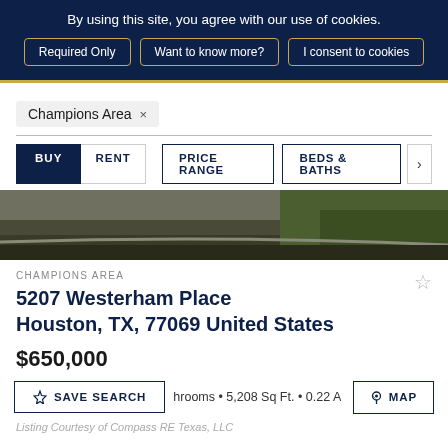By using this site, you agree with our use of cookies.
Required Only | Want to know more? | I consent to cookies
Champions Area ×
BUY  RENT  PRICE RANGE  BEDS & BATHS  >
[Figure (photo): Exterior view of property curb and lawn]
CHAMPIONS AREA
5207 Westerham Place
Houston, TX, 77069 United States
$650,000
hrooms • 5,208 Sq Ft. • 0.22 A
☆ SAVE SEARCH
⊙ MAP
Listing Courtesy of Compass RE Texas, LLC